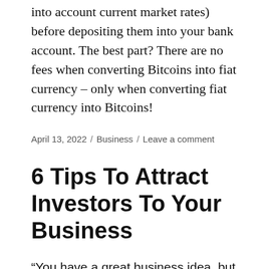into account current market rates) before depositing them into your bank account. The best part? There are no fees when converting Bitcoins into fiat currency – only when converting fiat currency into Bitcoins!
April 13, 2022 / Business / Leave a comment
6 Tips To Attract Investors To Your Business
“You have a great business idea, but how do you attract investors? Simple – make them an offer they can’t refuse!”